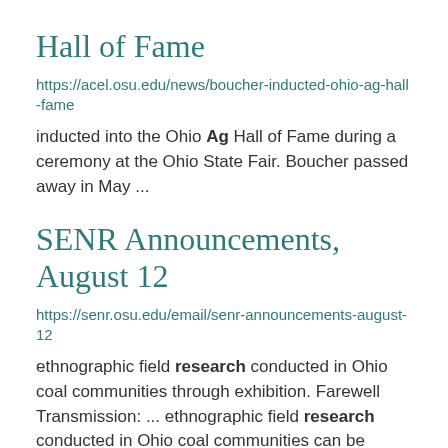Hall of Fame
https://acel.osu.edu/news/boucher-inducted-ohio-ag-hall-fame
inducted into the Ohio Ag Hall of Fame during a ceremony at the Ohio State Fair. Boucher passed away in May ...
SENR Announcements, August 12
https://senr.osu.edu/email/senr-announcements-august-12
ethnographic field research conducted in Ohio coal communities through exhibition. Farewell Transmission: ... ethnographic field research conducted in Ohio coal communities can be transformed and